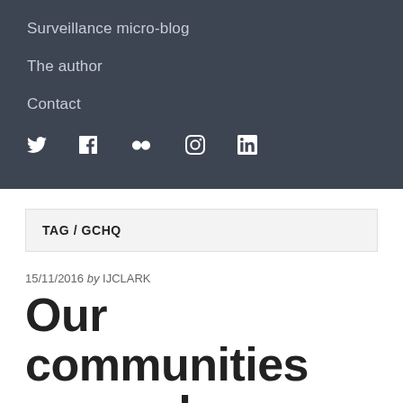Surveillance micro-blog
The author
Contact
[Figure (infographic): Social media icons: Twitter, Facebook, Flickr, Instagram, LinkedIn]
TAG / GCHQ
15/11/2016 by IJCLARK
Our communities are under threat, what are we going to do?